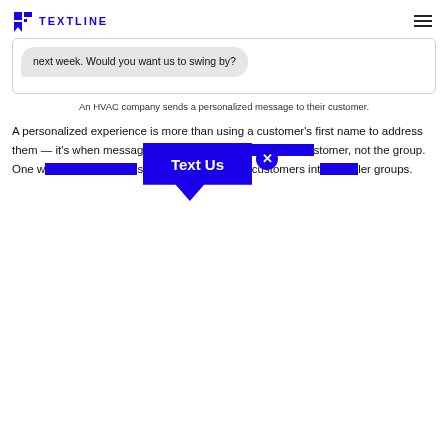TEXTLINE
[Figure (screenshot): Chat message bubble showing: 'next week. Would you want us to swing by?']
An HVAC company sends a personalized message to their customer.
A personalized experience is more than using a customer's first name to address them — it's when messaging is tailored to the individual customer, not the group. One way to improve messaging is to segment customers into smaller groups.
[Figure (screenshot): Blue 'Text Us' popup button with close X circle]